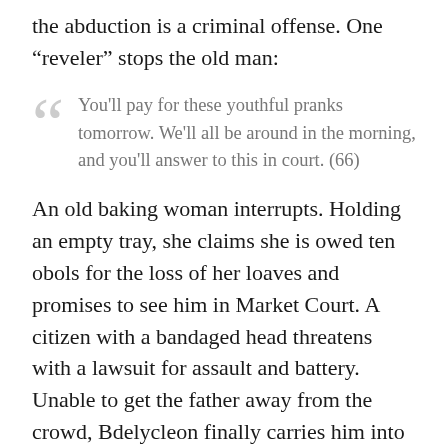the abduction is a criminal offense. One “reveler” stops the old man:
You'll pay for these youthful pranks tomorrow. We'll all be around in the morning, and you'll answer to this in court. (66)
An old baking woman interrupts. Holding an empty tray, she claims she is owed ten obols for the loss of her loaves and promises to see him in Market Court. A citizen with a bandaged head threatens with a lawsuit for assault and battery. Unable to get the father away from the crowd, Bdelycleon finally carries him into the house, but the old man still wants to party. He is soon joined by a second dancer dressed as a crab. They party in a chariot...